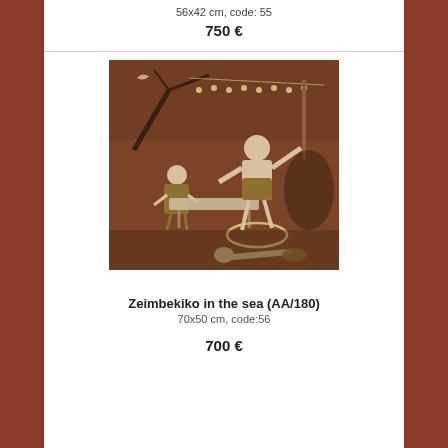56x42 cm, code: 55
750 €
[Figure (illustration): Artwork titled 'Zeimbekiko in the sea (AA/180)' — a brown-toned drawing depicting two figures seated at a table outdoors at night, one standing figure with arms raised, string lights in background, and a reclining figure in the foreground.]
Zeimbekiko in the sea (AA/180)
70x50 cm, code:56
700 €